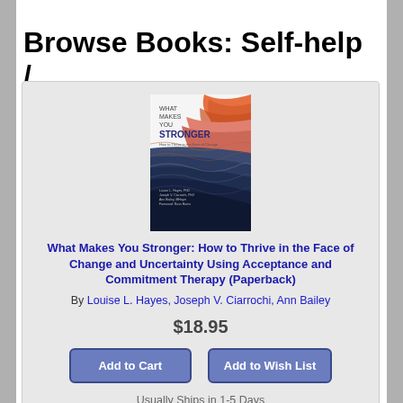Browse Books: Self-help / Self-Management
[Figure (illustration): Book cover for 'What Makes You Stronger' showing wavy abstract lines in orange, pink, and dark blue/navy, with title text and author names]
What Makes You Stronger: How to Thrive in the Face of Change and Uncertainty Using Acceptance and Commitment Therapy (Paperback)
By Louise L. Hayes, Joseph V. Ciarrochi, Ann Bailey
$18.95
Add to Cart
Add to Wish List
Usually Ships in 1-5 Days